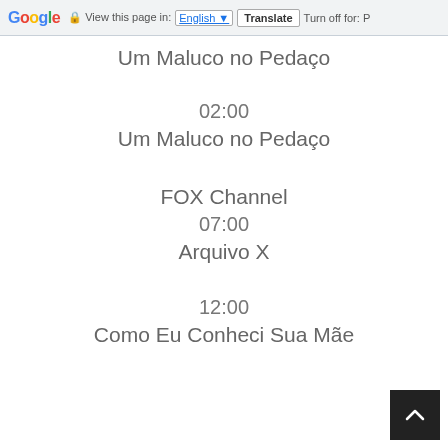Google | View this page in: English | Translate | Turn off for: P
Um Maluco no Pedaço
02:00
Um Maluco no Pedaço
FOX Channel
07:00
Arquivo X
12:00
Como Eu Conheci Sua Mãe